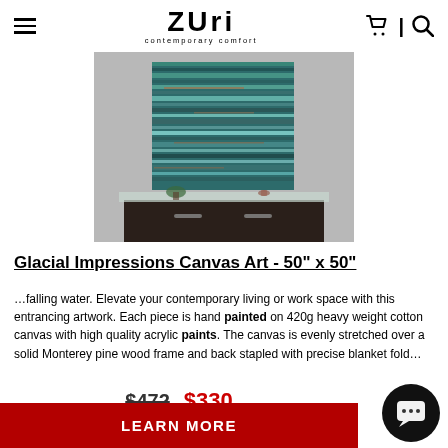Zuri contemporary comfort — navigation header with hamburger menu, cart, and search icons
[Figure (photo): A large abstract canvas artwork with teal/green horizontal brushstrokes hung on a grey wall above a dark wood sideboard/console table with glass top]
Glacial Impressions Canvas Art - 50" x 50"
…falling water. Elevate your contemporary living or work space with this entrancing artwork. Each piece is hand painted on 420g heavy weight cotton canvas with high quality acrylic paints. The canvas is evenly stretched over a solid Monterey pine wood frame and back stapled with precise blanket fold…
$472  $330
LEARN MORE